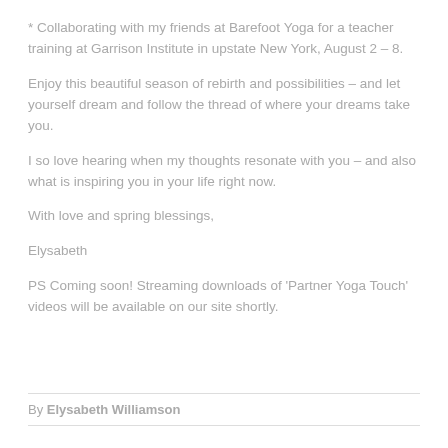* Collaborating with my friends at Barefoot Yoga for a teacher training at Garrison Institute in upstate New York, August 2 – 8.
Enjoy this beautiful season of rebirth and possibilities – and let yourself dream and follow the thread of where your dreams take you.
I so love hearing when my thoughts resonate with you – and also what is inspiring you in your life right now.
With love and spring blessings,
Elysabeth
PS Coming soon! Streaming downloads of 'Partner Yoga Touch' videos will be available on our site shortly.
By Elysabeth Williamson